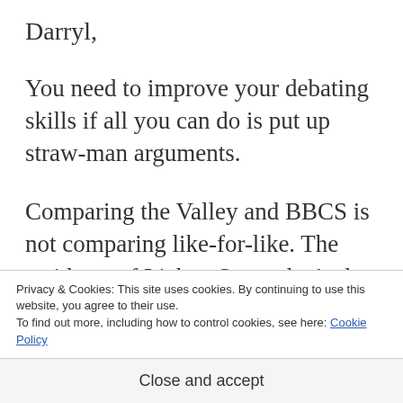Darryl,
You need to improve your debating skills if all you can do is put up straw-man arguments.
Comparing the Valley and BBCS is not comparing like-for-like. The residents of Lizban Street don’t also live in Floyd Road,
Privacy & Cookies: This site uses cookies. By continuing to use this website, you agree to their use.
To find out more, including how to control cookies, see here: Cookie Policy
Close and accept
lunches.